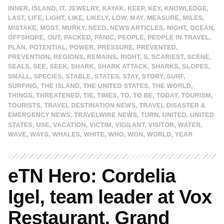INNER, ISLAND, IT, JEWELRY, KAYAK, KEEP, KEY, KNOWLEDGE, LAST, LIFE, LIGHT, LIKE, LIKELY, LOW, MAY, MEASURE, MILES, MISTAKE, MOST, MURKY, NEED, NEWS ARTICLES, NIGHT, OCEAN, OFFSHORE, OUT, PACKED, PANIC, PEOPLE, PEOPLE IN TRAVEL, PLAN, POTENTIAL, POWER, PRESSURE, PREVENTED, PREVENTION, REGIONS, REMAINS, RIGHT, S, SCARIEST, SCENE, SEALS, SEE, SEEK, SHARK, SHARK ATTACK, SHARKS, SLOPES, SMALL, SPECIES, STABLE, STATES, STAY, STORY, SURF, SURFING, THE ISLAND, THE UNITED STATES, THE WORLD, THINGS, THREATENED, TIE, TIMES, TO, TO BE, TODAY, TOURISM, TOURISTS, TRAVEL DESTINATION NEWS, TRAVEL DISASTER & EMERGENCY NEWS, TRAVELWIRE NEWS, TURN, UNITED, UNITED STATES, USE, VACATION, VICTIM, VIGILANT, VISITOR, WATER, WAVE, WAYS, WHALES, WHITE, WHO, WON, WORLD, YEAR
eTN Hero: Cordelia Igel, team leader at Vox Restaurant, Grand Hyatt